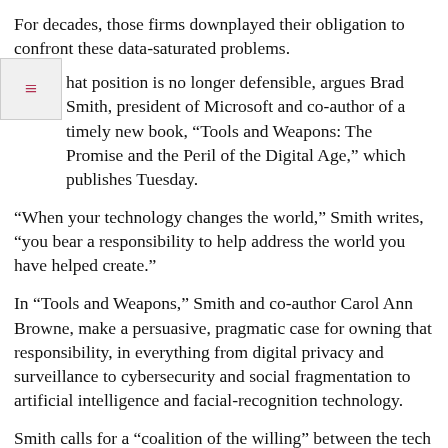For decades, those firms downplayed their obligation to confront these data-saturated problems.
That position is no longer defensible, argues Brad Smith, president of Microsoft and co-author of a timely new book, “Tools and Weapons: The Promise and the Peril of the Digital Age,” which publishes Tuesday.
“When your technology changes the world,” Smith writes, “you bear a responsibility to help address the world you have helped create.”
In “Tools and Weapons,” Smith and co-author Carol Ann Browne, make a persuasive, pragmatic case for owning that responsibility, in everything from digital privacy and surveillance to cybersecurity and social fragmentation to artificial intelligence and facial-recognition technology.
Smith calls for a “coalition of the willing” between the tech sector and